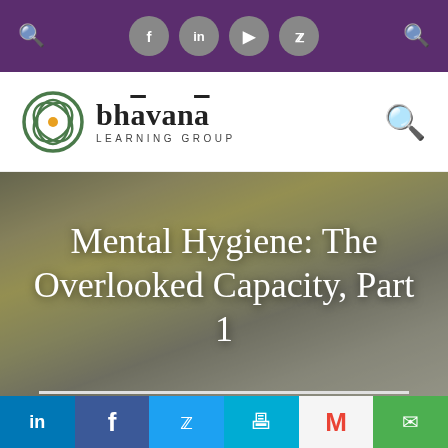[Figure (screenshot): Purple navigation bar with search icon on left, social media icons (Facebook, LinkedIn, YouTube, Twitter) in center, and search icon on right]
[Figure (logo): Bhavana Learning Group logo with circular emblem and stylized text]
Mental Hygiene: The Overlooked Capacity, Part 1
[Figure (screenshot): Social sharing bar with LinkedIn, Facebook, Twitter, print, Gmail, and email buttons]